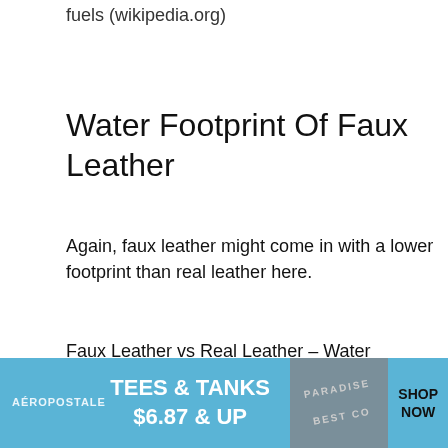fuels (wikipedia.org)
Water Footprint Of Faux Leather
Again, faux leather might come in with a lower footprint than real leather here.
Faux Leather vs Real Leather – Water Footprint
[Figure (screenshot): Aeropostale advertisement banner with text 'TEES & TANKS $6.87 & UP' on blue background with clothing image and SHOP NOW text]